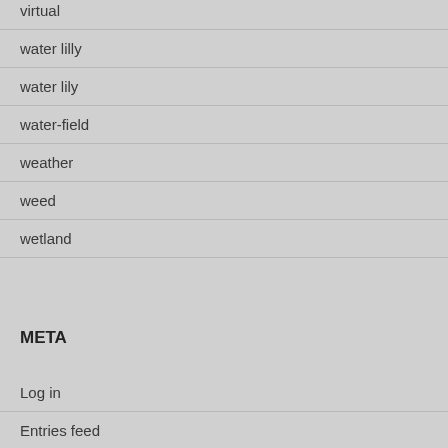virtual
water lilly
water lily
water-field
weather
weed
wetland
META
Log in
Entries feed
Comments feed